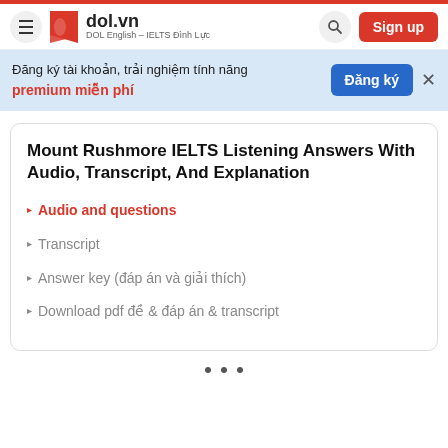dol.vn — DOL English – IELTS Đình Lực | Sign up
Đăng ký tài khoản, trải nghiệm tính năng premium miễn phí | Đăng ký
Mount Rushmore IELTS Listening Answers With Audio, Transcript, And Explanation
Audio and questions
Transcript
Answer key (đáp án và giải thích)
Download pdf đề & đáp án & transcript